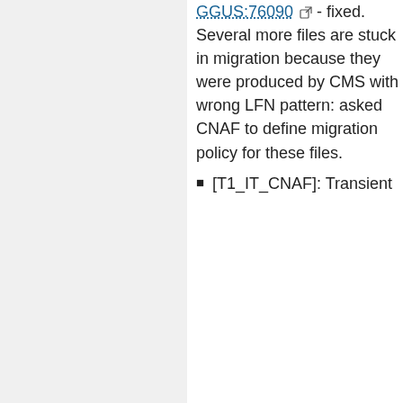GGUS:76090 - fixed. Several more files are stuck in migration because they were produced by CMS with wrong LFN pattern: asked CNAF to define migration policy for these files.
[T1_IT_CNAF]: Transient ...